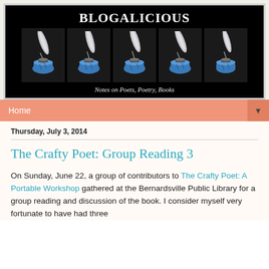[Figure (logo): Blogalicious blog header banner with black background, title 'BLOGALICIOUS' in white serif bold, five panels each showing a blue ink pot with a white feather quill, subtitle 'Notes on Poets, Poetry, Books' in white italic serif]
Home ▼
Thursday, July 3, 2014
The Crafty Poet: Group Reading 3
On Sunday, June 22, a group of contributors to The Crafty Poet: A Portable Workshop gathered at the Bernardsville Public Library for a group reading and discussion of the book. I consider myself very fortunate to have had three